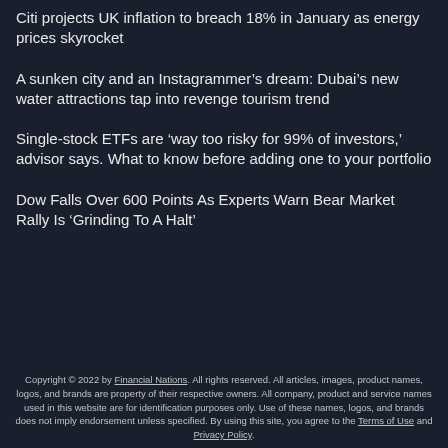Citi projects UK inflation to breach 18% in January as energy prices skyrocket
A sunken city and an Instagrammer’s dream: Dubai’s new water attractions tap into revenge tourism trend
Single-stock ETFs are ‘way too risky for 99% of investors,’ advisor says. What to know before adding one to your portfolio
Dow Falls Over 600 Points As Experts Warn Bear Market Rally Is ‘Grinding To A Halt’
Copyright © 2022 by Financial Nations. All rights reserved. All articles, images, product names, logos, and brands are property of their respective owners. All company, product and service names used in this website are for identification purposes only. Use of these names, logos, and brands does not imply endorsement unless specified. By using this site, you agree to the Terms of Use and Privacy Policy.